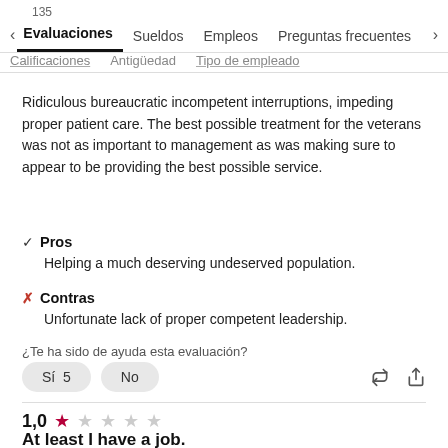135 < Evaluaciones   Sueldos   Empleos   Preguntas frecuentes >
Ridiculous bureaucratic incompetent interruptions, impeding proper patient care. The best possible treatment for the veterans was not as important to management as was making sure to appear to be providing the best possible service.
Pros: Helping a much deserving undeserved population.
Contras: Unfortunate lack of proper competent leadership.
¿Te ha sido de ayuda esta evaluación?
Sí 5   No
1,0 ★☆☆☆☆
At least I have a job.
Clerk (Empleado actual) - San Antonio, TX - 18 diciembre 2021